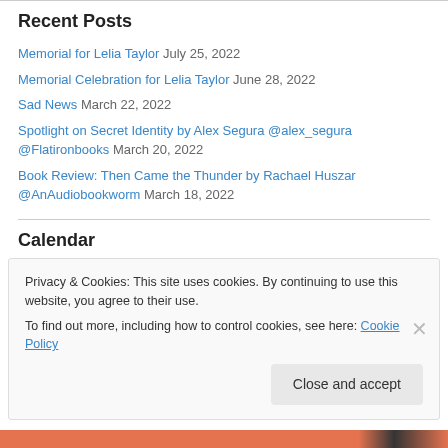Recent Posts
Memorial for Lelia Taylor July 25, 2022
Memorial Celebration for Lelia Taylor June 28, 2022
Sad News March 22, 2022
Spotlight on Secret Identity by Alex Segura @alex_segura @Flatironbooks March 20, 2022
Book Review: Then Came the Thunder by Rachael Huszar @AnAudiobookworm March 18, 2022
Calendar
Privacy & Cookies: This site uses cookies. By continuing to use this website, you agree to their use.
To find out more, including how to control cookies, see here: Cookie Policy
Close and accept